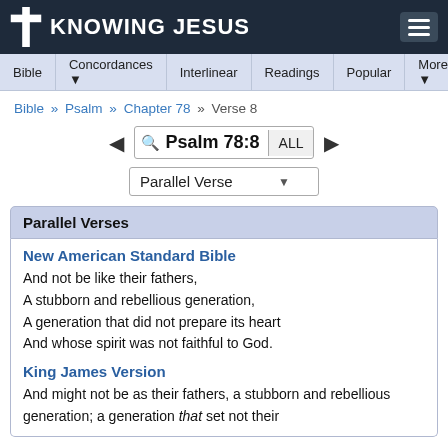KNOWING JESUS
Bible | Concordances | Interlinear | Readings | Popular | More
Bible » Psalm » Chapter 78 » Verse 8
Psalm 78:8
Parallel Verse
Parallel Verses
New American Standard Bible
And not be like their fathers,
A stubborn and rebellious generation,
A generation that did not prepare its heart
And whose spirit was not faithful to God.
King James Version
And might not be as their fathers, a stubborn and rebellious generation; a generation that set not their